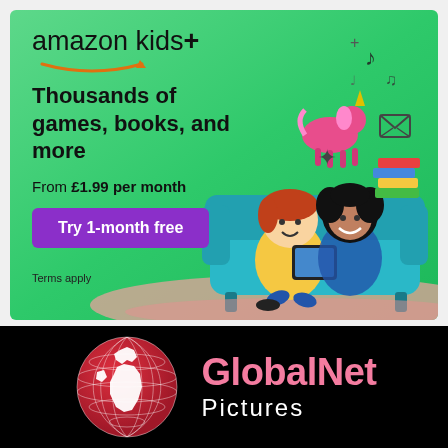[Figure (illustration): Amazon Kids+ advertisement banner with green gradient background. Shows Amazon Kids+ logo, tagline 'Thousands of games, books, and more', price 'From £1.99 per month', purple CTA button 'Try 1-month free', 'Terms apply' text, decorative icons (unicorn, musical notes, books, star shapes), and cartoon children sitting on a sofa with a tablet.]
[Figure (logo): GlobalNet Pictures logo on black background. Shows a red wireframe globe with white continent shapes on the left, and 'GlobalNet Pictures' text in pink/white on the right.]